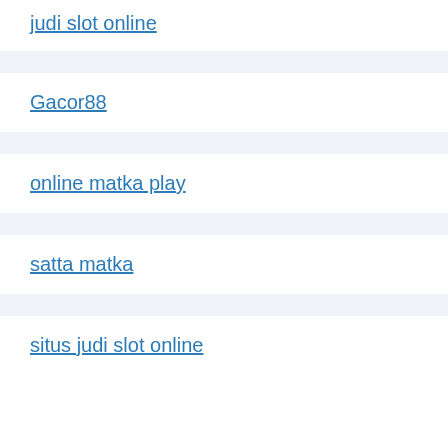judi slot online
Gacor88
online matka play
satta matka
situs judi slot online